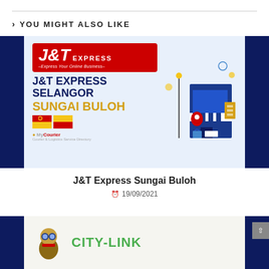> YOU MIGHT ALSO LIKE
[Figure (illustration): J&T Express Sungai Buloh promotional banner with J&T Express logo on red background, blue text reading J&T EXPRESS SELANGOR SUNGAI BULOH, Selangor flag, MyCourier branding, and illustrated store graphic on right. Dark blue sidebars on left and right.]
J&T Express Sungai Buloh
19/09/2021
[Figure (illustration): City-Link Express banner with mascot character and green CITY-LINK text. Dark blue sidebars on left and right.]